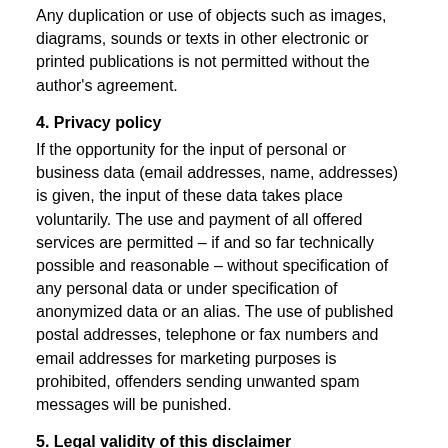Any duplication or use of objects such as images, diagrams, sounds or texts in other electronic or printed publications is not permitted without the author's agreement.
4. Privacy policy
If the opportunity for the input of personal or business data (email addresses, name, addresses) is given, the input of these data takes place voluntarily. The use and payment of all offered services are permitted – if and so far technically possible and reasonable – without specification of any personal data or under specification of anonymized data or an alias. The use of published postal addresses, telephone or fax numbers and email addresses for marketing purposes is prohibited, offenders sending unwanted spam messages will be punished.
5. Legal validity of this disclaimer
This disclaimer is to be regarded as part of the internet publication which you were referred from. If sections or individual terms of this statement are not legal or correct, the content or validity of the